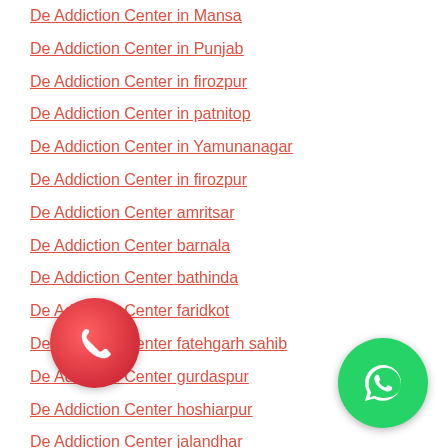De Addiction Center in Mansa
De Addiction Center in Punjab
De Addiction Center in firozpur
De Addiction Center in patnitop
De Addiction Center in Yamunanagar
De Addiction Center in firozpur
De Addiction Center amritsar
De Addiction Center barnala
De Addiction Center bathinda
De Addiction Center faridkot
De Addiction Center fatehgarh sahib
De Addiction Center gurdaspur
De Addiction Center hoshiarpur
De Addiction Center jalandhar
De Addiction Center kapurthala
[Figure (illustration): Red circular WhatsApp-style phone icon button, bottom-left overlay]
[Figure (illustration): Green circular WhatsApp icon button, bottom-right overlay]